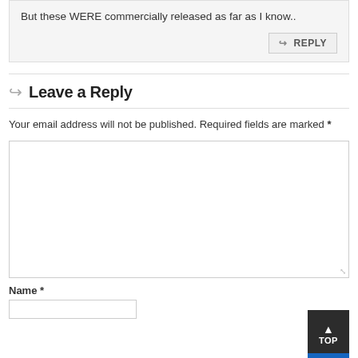But these WERE commercially released as far as I know..
REPLY
Leave a Reply
Your email address will not be published. Required fields are marked *
Name *